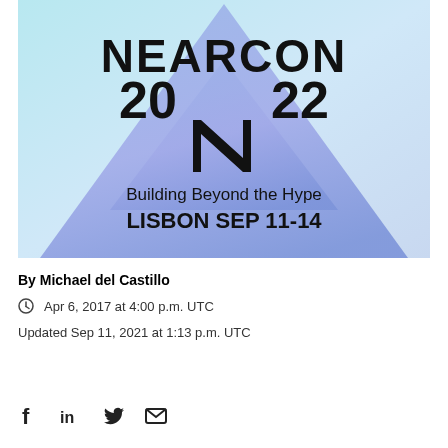[Figure (logo): NEARCON 2022 event logo with triangle/mountain shape gradient background (light blue to purple), NEAR protocol N logo, text 'Building Beyond the Hype' and 'LISBON SEP 11-14']
By Michael del Castillo
Apr 6, 2017 at 4:00 p.m. UTC
Updated Sep 11, 2021 at 1:13 p.m. UTC